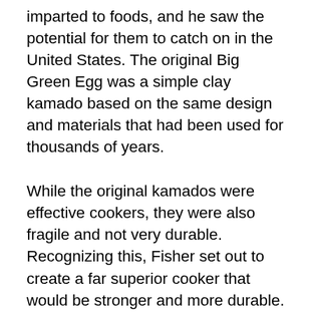imparted to foods, and he saw the potential for them to catch on in the United States. The original Big Green Egg was a simple clay kamado based on the same design and materials that had been used for thousands of years.
While the original kamados were effective cookers, they were also fragile and not very durable. Recognizing this, Fisher set out to create a far superior cooker that would be stronger and more durable. He aligned with a state-of-the-art factory to incorporate improved types of ceramics based on materials initially developed by NASA for the space program. Through trial and error, Fisher and his team eventually created a kamado that was superior in every way to